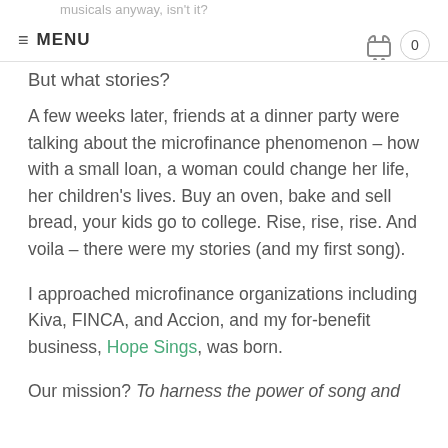musicals anyway, isn't it? ≡ MENU  🛒 0
But what stories?
A few weeks later, friends at a dinner party were talking about the microfinance phenomenon – how with a small loan, a woman could change her life, her children's lives. Buy an oven, bake and sell bread, your kids go to college. Rise, rise, rise. And voila – there were my stories (and my first song).
I approached microfinance organizations including Kiva, FINCA, and Accion, and my for-benefit business, Hope Sings, was born.
Our mission? To harness the power of song and